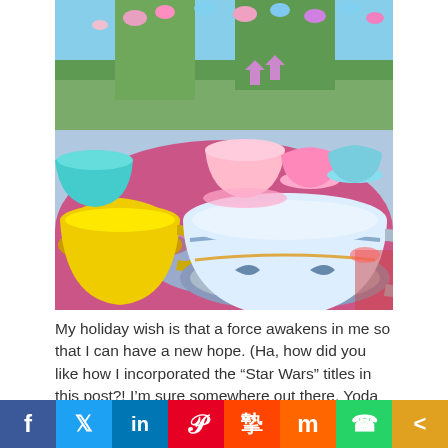[Figure (photo): Disneyland Mad Tea Party (teacups ride) showing colorful giant teacups on a purple spinning platform, with decorative lanterns and trees in the background. Prominent yellow teacup on the left, white and blue teacup in the center foreground, pink and cyan teacups in the background.]
My holiday wish is that a force awakens in me so that I can have a new hope. (Ha, how did you like how I incorporated the “Star Wars” titles in this post?! I’m sure somewhere out there, Yoda is crying…)
Maybe it is a Christmas fantasy to be so optimistic about